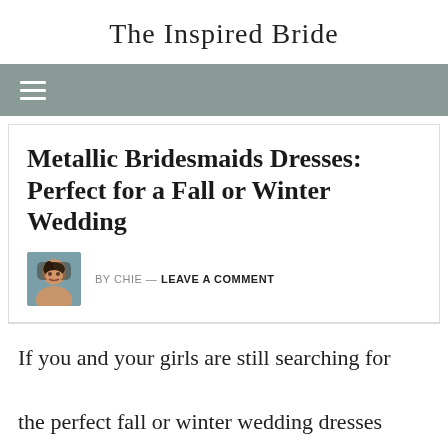The Inspired Bride
Metallic Bridesmaids Dresses: Perfect for a Fall or Winter Wedding
BY CHIE — LEAVE A COMMENT
If you and your girls are still searching for the perfect fall or winter wedding dresses